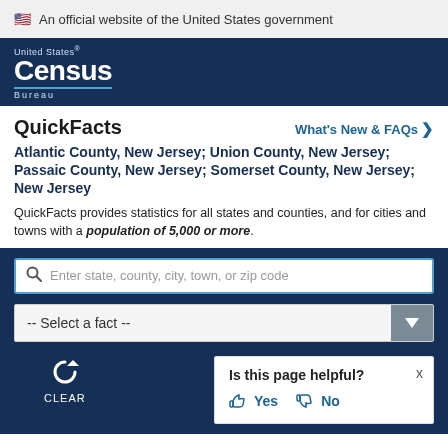An official website of the United States government
[Figure (logo): United States Census Bureau logo — white text on dark navy background]
QuickFacts
What's New & FAQs >
Atlantic County, New Jersey; Union County, New Jersey; Passaic County, New Jersey; Somerset County, New Jersey; New Jersey
QuickFacts provides statistics for all states and counties, and for cities and towns with a population of 5,000 or more.
Enter state, county, city, town, or zip code
-- Select a fact --
CLEAR
Is this page helpful? Yes No